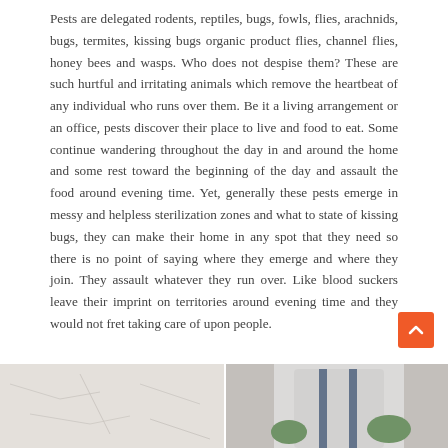Pests are delegated rodents, reptiles, bugs, fowls, flies, arachnids, bugs, termites, kissing bugs organic product flies, channel flies, honey bees and wasps. Who does not despise them? These are such hurtful and irritating animals which remove the heartbeat of any individual who runs over them. Be it a living arrangement or an office, pests discover their place to live and food to eat. Some continue wandering throughout the day in and around the home and some rest toward the beginning of the day and assault the food around evening time. Yet, generally these pests emerge in messy and helpless sterilization zones and what to state of kissing bugs, they can make their home in any spot that they need so there is no point of saying where they emerge and where they join. They assault whatever they run over. Like blood suckers leave their imprint on territories around evening time and they would not fret taking care of upon people.
[Figure (photo): Two images side by side at the bottom: left image shows a white cracked/textured surface (wall or ceiling), right image shows a person in white clothing with green gloves, likely a pest control worker.]